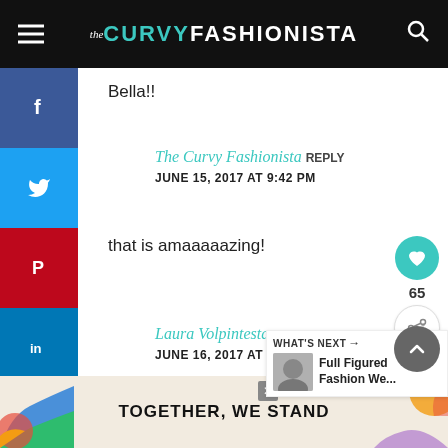the CURVY FASHIONISTA
Bella!!
The Curvy Fashionista REPLY
JUNE 15, 2017 AT 9:42 PM
that is amaaaaazing!
Laura Volpintesta says: REPLY
JUNE 16, 2017 AT 3:42 AM
[Figure (other): Advertisement banner: TOGETHER, WE STAND with colorful abstract art on left]
[Figure (other): What's Next panel showing Full Figured Fashion We...]